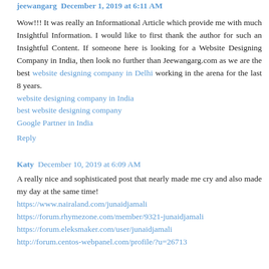jeewangarg December 1, 2019 at 6:11 AM
Wow!!! It was really an Informational Article which provide me with much Insightful Information. I would like to first thank the author for such an Insightful Content. If someone here is looking for a Website Designing Company in India, then look no further than Jeewangarg.com as we are the best website designing company in Delhi working in the arena for the last 8 years.
website designing company in India
best website designing company
Google Partner in India
Reply
Katy  December 10, 2019 at 6:09 AM
A really nice and sophisticated post that nearly made me cry and also made my day at the same time!
https://www.nairaland.com/junaidjamali
https://forum.rhymezone.com/member/9321-junaidjamali
https://forum.eleksmaker.com/user/junaidjamali
http://forum.centos-webpanel.com/profile/?u=26713